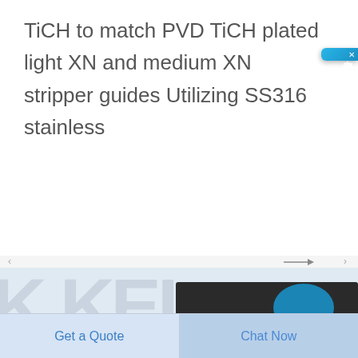TiCH to match PVD TiCH plated light XN and medium XN stripper guides Utilizing SS316 stainless
[Figure (photo): Partial product photo showing equipment with 'KEL' watermark/logo in grey background and a dark cylindrical product component with blue accent]
Get a Quote
Chat Now